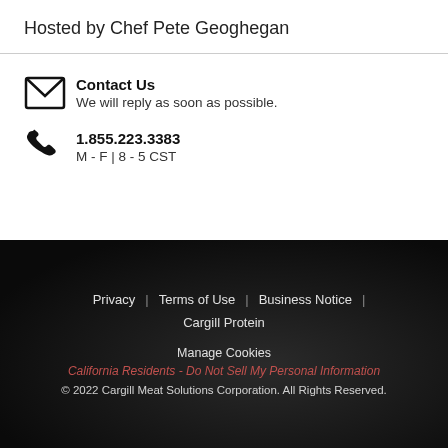Hosted by Chef Pete Geoghegan
[Figure (illustration): Envelope icon for Contact Us]
Contact Us
We will reply as soon as possible.
[Figure (illustration): Phone handset icon]
1.855.223.3383
M - F | 8 - 5 CST
Privacy | Terms of Use | Business Notice | Cargill Protein
Manage Cookies
California Residents - Do Not Sell My Personal Information
© 2022 Cargill Meat Solutions Corporation. All Rights Reserved.